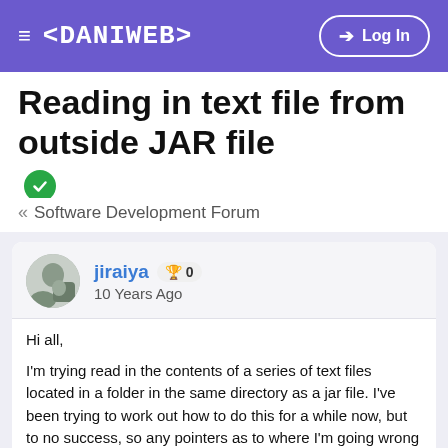≡ <DANIWEB> → Log In
Reading in text file from outside JAR file ✓
« Software Development Forum
jiraiya 🏆 0
10 Years Ago
Hi all,

I'm trying read in the contents of a series of text files located in a folder in the same directory as a jar file. I've been trying to work out how to do this for a while now, but to no success, so any pointers as to where I'm going wrong would be greatly appreciated.

I'm using two methods, one to get the names of the text